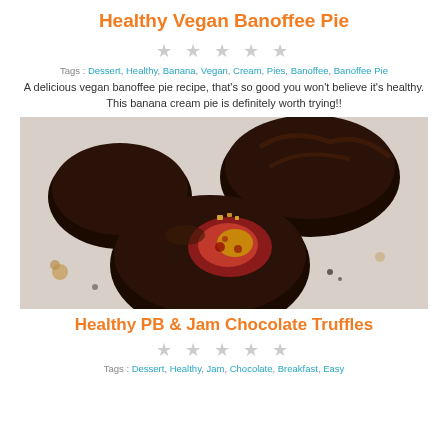Healthy Vegan Banoffee Pie
★ ★ ★ ★ ★
Tags: Dessert, Healthy, Banana, Vegan, Cream, Pies, Banoffee, Banoffee Pie
A delicious vegan banoffee pie recipe, that's so good you won't believe it's healthy. This banana cream pie is definitely worth trying!!
[Figure (photo): Photo of chocolate-covered truffles/balls on a white surface, one bitten open showing peanut butter and jam filling]
Healthy PB & Jam Chocolate Truffles
★ ★ ★ ★ ★
Tags: Dessert, Healthy, Jam, Chocolate, Breakfast, Easy